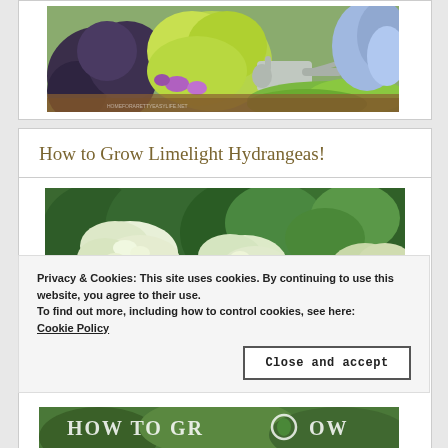[Figure (photo): Garden photo showing colorful plants including dark-leafed plants, bright yellow-green foliage, purple flowers, and a metal watering can, with green moss ground cover and mulch path.]
How to Grow Limelight Hydrangeas!
[Figure (photo): Photo of limelight hydrangea bushes with large white and pale green flower clusters against green leafy background.]
Privacy & Cookies: This site uses cookies. By continuing to use this website, you agree to their use.
To find out more, including how to control cookies, see here:
Cookie Policy
[Figure (photo): Bottom banner image showing text 'HOW TO GROW' overlaid on a garden image.]